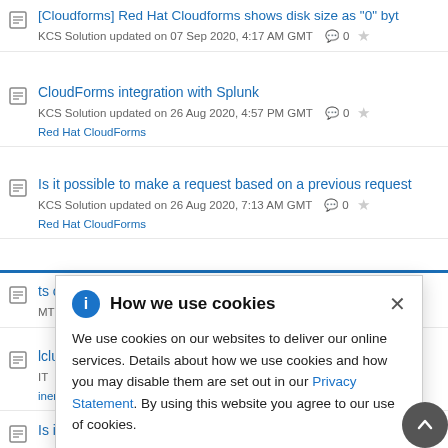[Cloudforms] Red Hat Cloudforms shows disk size as "0" byt - KCS Solution updated on 07 Sep 2020, 4:17 AM GMT  0
CloudForms integration with Splunk - KCS Solution updated on 26 Aug 2020, 4:57 PM GMT  0 - Red Hat CloudForms
Is it possible to make a request based on a previous request - KCS Solution updated on 26 Aug 2020, 7:13 AM GMT  0 - Red Hat CloudForms
...ts on RHV - KCS Solution updated ...MT  0
...lclude CloudForm... - ...IT  3 - ...iner Platform...
Is it possible to assign one group to more than one tenants?
How we use cookies - We use cookies on our websites to deliver our online services. Details about how we use cookies and how you may disable them are set out in our Privacy Statement. By using this website you agree to our use of cookies.